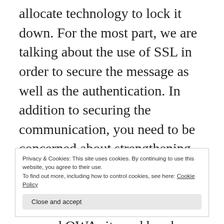allocate technology to lock it down. For the most part, we are talking about the use of SSL in order to secure the message as well as the authentication. In addition to securing the communication, you need to be concerned about strengthening the password and changing the password lockout, duration and history. Anyone can hit your secured OWA site and break passwords by using simple programs that use random words or password building routines. If you are going to allow external
Privacy & Cookies: This site uses cookies. By continuing to use this website, you agree to their use.
To find out more, including how to control cookies, see here: Cookie Policy